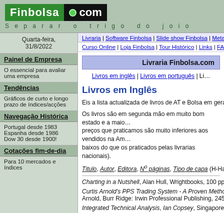[Figure (logo): Finbolsa.com logo with green and black background and tagline 'Separar o trigo do joio']
Quarta-feira, 31/8/2022
Painel de Empresa
O essencial para avaliar uma empresa
Tendências
Gráficos de curto e longo prazo de índices/acções
Navegação Histórica
Portugal desde 1983
Espanha desde 1986
Dow 30 desde 1900!
Cotações fim-de-dia
Para 10 mercados e índices
Livraria | Software Finbolsa | Slide show Finbolsa | MetaStock 17 | Cotaç...
Curso Online | Loja Finbolsa | Tour Histórico | Links | FAQ
Livraria Finbolsa.com
Livros em inglês | Livros em português | Li...
Livros em Inglês
Eis a lista actualizada de livros de AT e Bolsa em geral, em líng...
Os livros são em segunda mão em muito bom estado e a maio... preços que praticamos são muito inferiores aos vendidos na Am... baixos do que os praticados pelas livrarias nacionais).
Titulo, Autor, Editora, Nº páginas, Tipo de capa (H-Hardcover, P...
Charting in a Nutshell, Alan Hull, Wrightbooks, 100 pp, P
Curtis Arnold's PPS Trading System - A Proven Method for Con... Arnold, Burr Ridge: Irwin Professional Publishing, 245 pp, H
Integrated Technical Analysis, Ian Copsey, Singapore: John Wi...
Macroeconomics, N. Gregory Mankiw, New York: Worth Publish...